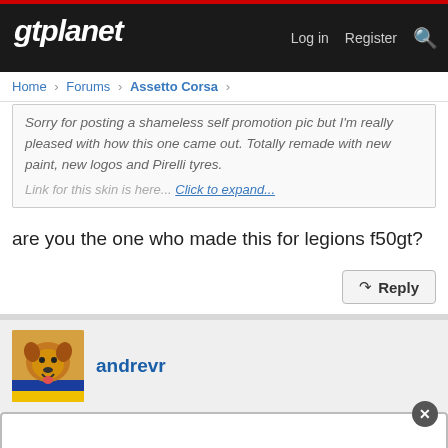gtplanet | Log in  Register
Home > Forums > Assetto Corsa >
Sorry for posting a shameless self promotion pic but I'm really pleased with how this one came out. Totally remade with new paint, new logos and Pirelli tyres.
Link for this skin is here... Click to expand...
are you the one who made this for legions f50gt?
Reply
andrevr